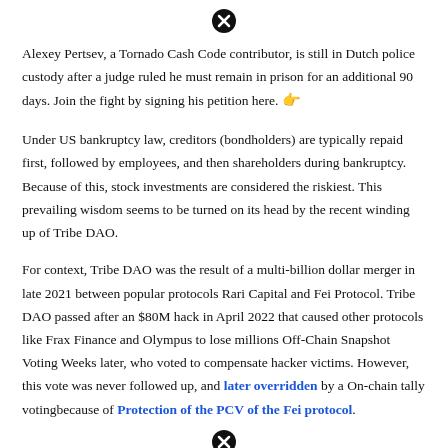[Figure (other): Close/cancel icon (circled X) at top center of page]
Alexey Pertsev, a Tornado Cash Code contributor, is still in Dutch police custody after a judge ruled he must remain in prison for an additional 90 days. Join the fight by signing his petition here. 👉
Under US bankruptcy law, creditors (bondholders) are typically repaid first, followed by employees, and then shareholders during bankruptcy. Because of this, stock investments are considered the riskiest. This prevailing wisdom seems to be turned on its head by the recent winding up of Tribe DAO.
For context, Tribe DAO was the result of a multi-billion dollar merger in late 2021 between popular protocols Rari Capital and Fei Protocol. Tribe DAO passed after an $80M hack in April 2022 that caused other protocols like Frax Finance and Olympus to lose millions Off-Chain Snapshot Voting Weeks later, who voted to compensate hacker victims. However, this vote was never followed up, and later overridden by a On-chain tally votingbecause of Protection of the PCV of the Fei protocol.
[Figure (other): Close/cancel icon (circled X) at bottom center of page]
Fast forward to last week, Tribe announced the shut down of the protocol